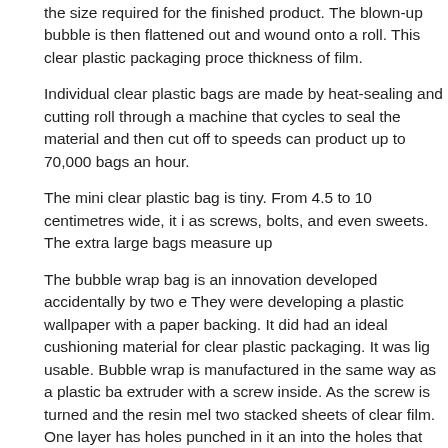the size required for the finished product. The blown-up bubble is then flattened out and wound onto a roll. This clear plastic packaging proce thickness of film.
Individual clear plastic bags are made by heat-sealing and cutting roll through a machine that cycles to seal the material and then cut off to speeds can product up to 70,000 bags an hour.
The mini clear plastic bag is tiny. From 4.5 to 10 centimetres wide, it i as screws, bolts, and even sweets. The extra large bags measure up
The bubble wrap bag is an innovation developed accidentally by two e They were developing a plastic wallpaper with a paper backing. It did had an ideal cushioning material for clear plastic packaging. It was lig usable. Bubble wrap is manufactured in the same way as a plastic ba extruder with a screw inside. As the screw is turned and the resin mel two stacked sheets of clear film. One layer has holes punched in it an into the holes that form the bubbles. The second layer of film is lamina the two films are joined, they stick together and trap air in the bubbles to 25 millimetres in diameter up to 4 millimetres in height.
While it sounds easy, polyethylene is, in fact, a porous material, which through the pores. So, the bubbles have to be sealed during extrusion